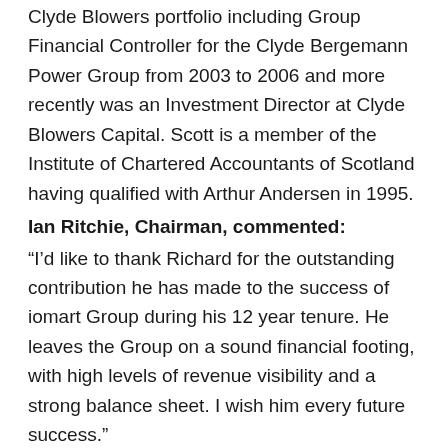Clyde Blowers portfolio including Group Financial Controller for the Clyde Bergemann Power Group from 2003 to 2006 and more recently was an Investment Director at Clyde Blowers Capital. Scott is a member of the Institute of Chartered Accountants of Scotland having qualified with Arthur Andersen in 1995.
Ian Ritchie, Chairman, commented:
“I’d like to thank Richard for the outstanding contribution he has made to the success of iomart Group during his 12 year tenure. He leaves the Group on a sound financial footing, with high levels of revenue visibility and a strong balance sheet. I wish him every future success.”
Angus MacSween, CEO, commented:
“I concur with the Chairman’s comments and after a busy 12 years I wish Richard a long and healthy retirement. In Scott we have found another high calibre finance director and